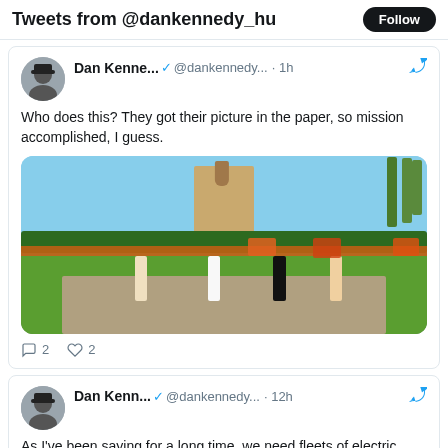Tweets from @dankennedy_hu  Follow
Dan Kenne... ✔ @dankennedy... · 1h
Who does this? They got their picture in the paper, so mission accomplished, I guess.
[Figure (photo): Protesters walking in front of a building with palm trees and colorful flower beds, holding signs.]
2  2
Dan Kenn... ✔ @dankennedy... · 12h
As I've been saying for a long time, we need fleets of electric buses with bus-only lanes and roads.